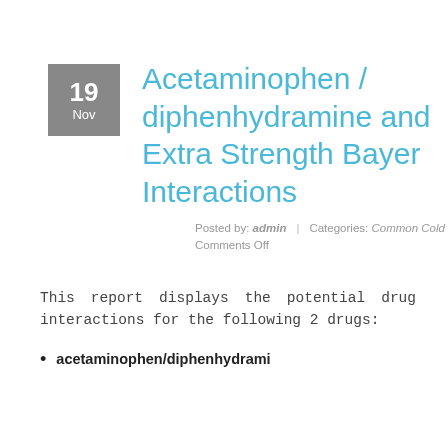Acetaminophen / diphenhydramine and Extra Strength Bayer Interactions
Posted by: admin | Categories: Common Cold Comments Off
This report displays the potential drug interactions for the following 2 drugs:
acetaminophen/diphenhydrami